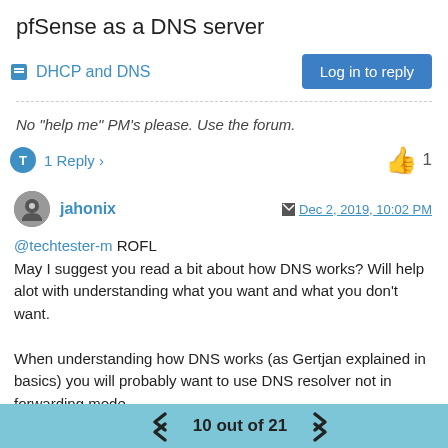pfSense as a DNS server
DHCP and DNS
No "help me" PM's please. Use the forum.
1 Reply
jahonix  Dec 2, 2019, 10:02 PM
@techtester-m ROFL May I suggest you read a bit about how DNS works? Will help alot with understanding what you want and what you don't want.

When understanding how DNS works (as Gertjan explained in basics) you will probably want to use DNS resolver not in forwarding mode.
10 out of 21